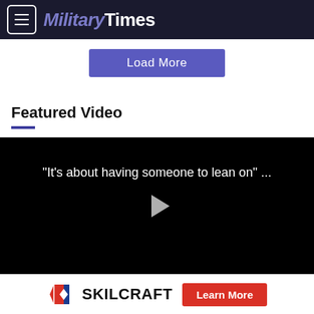MilitaryTimes
[Figure (screenshot): Load More button in purple/indigo background color]
Featured Video
[Figure (screenshot): Video player with black background showing quote text 'It's about having someone to lean on' ... and a play button triangle in the center]
[Figure (logo): SKILCRAFT logo with chevron/flag icon and a red Learn More button]